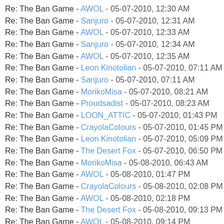Re: The Ban Game - AWOL - 05-07-2010, 12:30 AM
Re: The Ban Game - Sanjuro - 05-07-2010, 12:31 AM
Re: The Ban Game - AWOL - 05-07-2010, 12:33 AM
Re: The Ban Game - Sanjuro - 05-07-2010, 12:34 AM
Re: The Ban Game - AWOL - 05-07-2010, 12:35 AM
Re: The Ban Game - Leon Kinotolian - 05-07-2010, 07:11 AM
Re: The Ban Game - Sanjuro - 05-07-2010, 07:11 AM
Re: The Ban Game - MorikoMisa - 05-07-2010, 08:21 AM
Re: The Ban Game - Proudsadist - 05-07-2010, 08:23 AM
Re: The Ban Game - LOON_ATTIC - 05-07-2010, 01:43 PM
Re: The Ban Game - CrayolaColours - 05-07-2010, 01:45 PM
Re: The Ban Game - Leon Kinotolian - 05-07-2010, 05:09 PM
Re: The Ban Game - The Desert Fox - 05-07-2010, 06:50 PM
Re: The Ban Game - MorikoMisa - 05-08-2010, 06:43 AM
Re: The Ban Game - AWOL - 05-08-2010, 01:47 PM
Re: The Ban Game - CrayolaColours - 05-08-2010, 02:08 PM
Re: The Ban Game - AWOL - 05-08-2010, 02:18 PM
Re: The Ban Game - The Desert Fox - 05-08-2010, 09:13 PM
Re: The Ban Game - AWOL - 05-08-2010, 09:14 PM
Re: The Ban Game - The Desert Fox - 05-08-2010, 09:18 PM
Re: The Ban Game - AWOL - 05-08-2010, 09:19 PM
Re: The Ban Game - The Desert Fox - 05-08-2010, 09:19 PM
Re: The Ban Game - AWOL - 05-08-2010, 09:20 PM